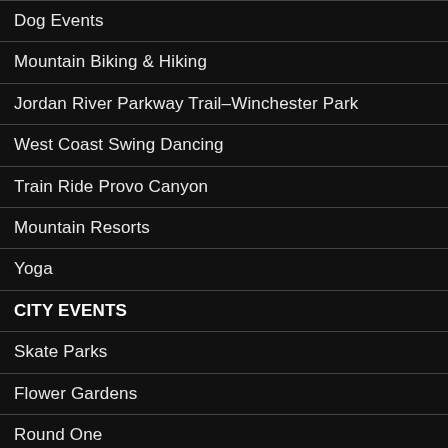Dog Events
Mountain Biking & Hiking
Jordan River Parkway Trail–Winchester Park
West Coast Swing Dancing
Train Ride Provo Canyon
Mountain Resorts
Yoga
CITY EVENTS
Skate Parks
Flower Gardens
Round One
Amusement Parks